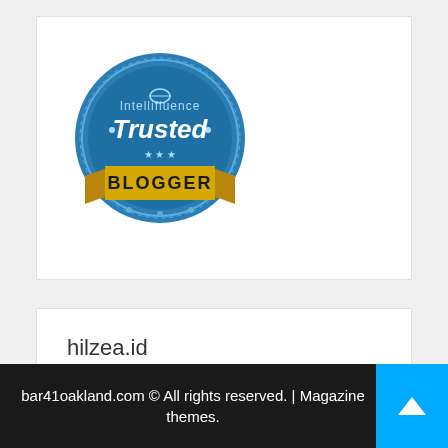[Figure (logo): Intellifluence Trusted Blogger badge - circular blue badge with yellow ribbon banner at bottom reading BLOGGER]
hilzea.id
kaos.sale
bar41oakland.com © All rights reserved. | Magazine themes.